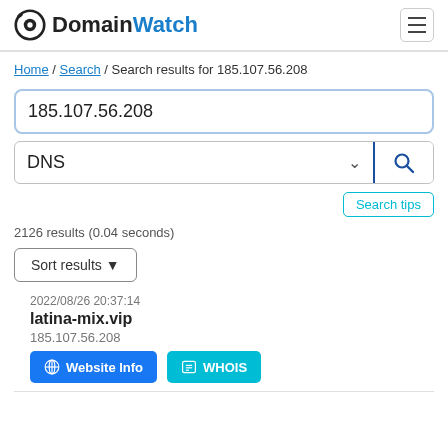DomainWatch
Home / Search / Search results for 185.107.56.208
185.107.56.208
DNS
Search tips
2126 results (0.04 seconds)
Sort results
2022/08/26 20:37:14
latina-mix.vip
185.107.56.208
Website Info   WHOIS